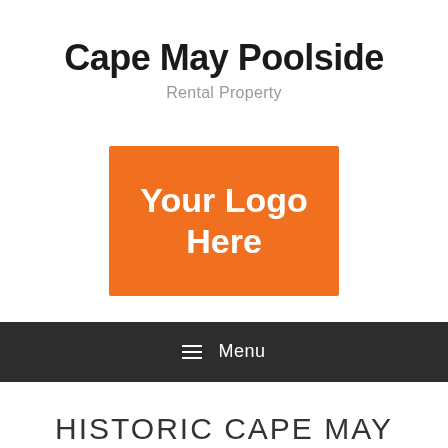Cape May Poolside
Rental Property
[Figure (logo): Orange rectangular logo placeholder with white bold text reading 'Your Logo Here']
≡ Menu
HISTORIC CAPE MAY TOURS